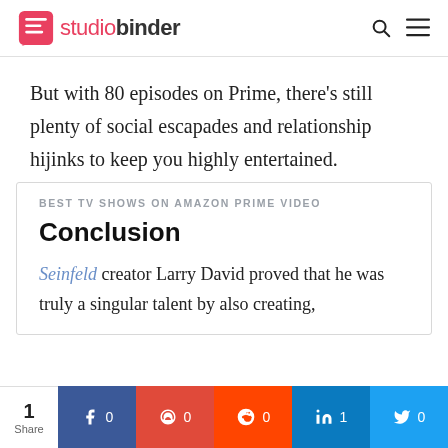studiobinder
But with 80 episodes on Prime, there’s still plenty of social escapades and relationship hijinks to keep you highly entertained.
BEST TV SHOWS ON AMAZON PRIME VIDEO
Conclusion
Seinfeld creator Larry David proved that he was truly a singular talent by also creating,
1 Share | f 0 | p 0 | reddit 0 | in 1 | twitter 0